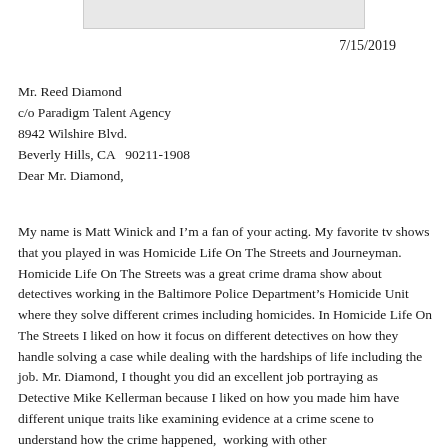7/15/2019
Mr. Reed Diamond
c/o Paradigm Talent Agency
8942 Wilshire Blvd.
Beverly Hills, CA  90211-1908
Dear Mr. Diamond,
My name is Matt Winick and I’m a fan of your acting. My favorite tv shows that you played in was Homicide Life On The Streets and Journeyman.   Homicide Life On The Streets was a great crime drama show about detectives working in the Baltimore Police Department’s Homicide Unit where they solve different crimes including homicides. In Homicide Life On The Streets I liked on how it focus on different detectives on how they handle solving a case while dealing with the hardships of life including the job. Mr. Diamond, I thought you did an excellent job portraying as Detective Mike Kellerman because I liked on how you made him have different unique traits like examining evidence at a crime scene to understand how the crime happened,  working with other